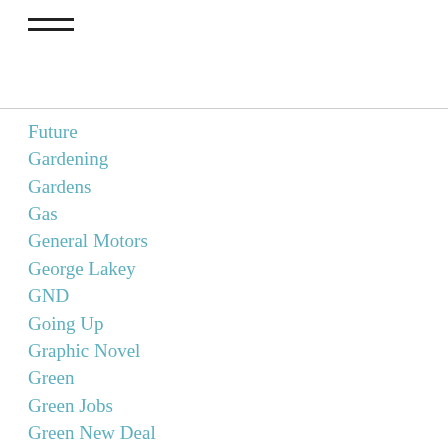≡
Future
Gardening
Gardens
Gas
General Motors
George Lakey
GND
Going Up
Graphic Novel
Green
Green Jobs
Green New Deal
Greensgrow
Greenworks
GRinCH
G-Town Radio
Gtown Radio